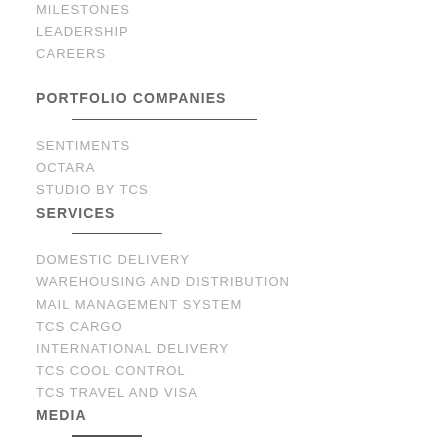MILESTONES
LEADERSHIP
CAREERS
PORTFOLIO COMPANIES
SENTIMENTS
OCTARA
STUDIO BY TCS
SERVICES
DOMESTIC DELIVERY
WAREHOUSING AND DISTRIBUTION
MAIL MANAGEMENT SYSTEM
TCS CARGO
INTERNATIONAL DELIVERY
TCS COOL CONTROL
TCS TRAVEL AND VISA
MEDIA